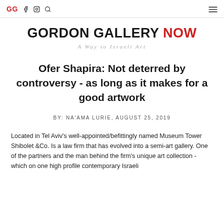GG  f  instagram  search  hamburger-menu
GORDON GALLERY NOW
A Way to Israeli Art
Ofer Shapira: Not deterred by controversy - as long as it makes for a good artwork
BY: NA'AMA LURIE, AUGUST 25, 2019
Located in Tel Aviv's well-appointed/befittingly named Museum Tower Shibolet &Co. Is a law firm that has evolved into a semi-art gallery. One of the partners and the man behind the firm's unique art collection - which on one high profile contemporary Israeli